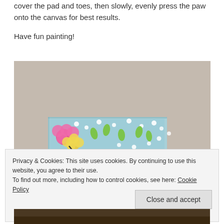cover the pad and toes, then slowly, evenly press the paw onto the canvas for best results.
Have fun painting!
[Figure (photo): A photo showing a painted canvas with colorful paw print art (pink, yellow flowers and green dots on light blue background) resting against a beige wall]
Privacy & Cookies: This site uses cookies. By continuing to use this website, you agree to their use.
To find out more, including how to control cookies, see here: Cookie Policy
Close and accept